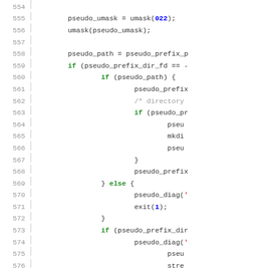[Figure (other): Source code listing (C code) with line numbers 554–583, showing pseudo_umask, pseudo_path, pseudo_prefix, pseudo_diag, exit, free, and related function calls with C syntax highlighting (keywords in green bold, numbers in blue bold, comments in gray).]